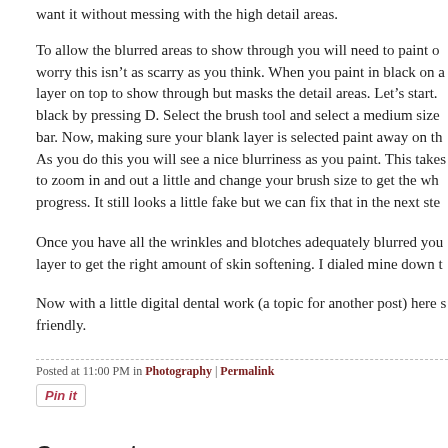want it without messing with the high detail areas.
To allow the blurred areas to show through you will need to paint on worry this isn't as scarry as you think. When you paint in black on a layer on top to show through but masks the detail areas. Let's start. black by pressing D. Select the brush tool and select a medium sized bar. Now, making sure your blank layer is selected paint away on th As you do this you will see a nice blurriness as you paint. This takes to zoom in and out a little and change your brush size to get the who progress. It still looks a little fake but we can fix that in the next ste
Once you have all the wrinkles and blotches adequately blurred you layer to get the right amount of skin softening. I dialed mine down t
Now with a little digital dental work (a topic for another post) here s friendly.
Posted at 11:00 PM in Photography | Permalink
Comments